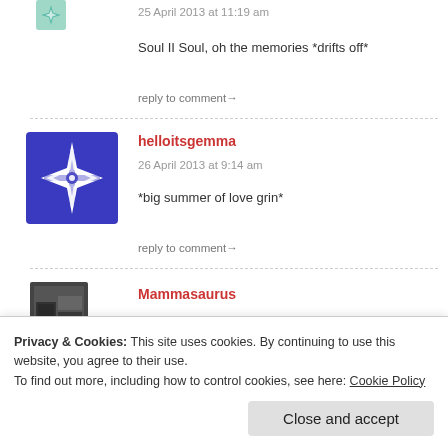25 April 2013 at 11:19 am
Soul II Soul, oh the memories *drifts off*
reply to comment→
helloitsgemma
26 April 2013 at 9:14 am
*big summer of love grin*
reply to comment→
Mammasaurus
Privacy & Cookies: This site uses cookies. By continuing to use this website, you agree to their use.
To find out more, including how to control cookies, see here: Cookie Policy
Close and accept